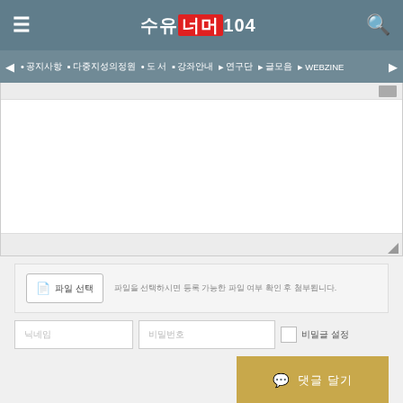수유너머104
• 공지사항 • 다중지성의정원 • 도 서 • 강좌안내 ▸ 연구단 ▸ 글모음 ▸ WEBZINE
[Figure (screenshot): Comment text input area with white background and resize handle]
[Figure (screenshot): File attachment section with button and notice text]
파일을 선택하시면 등록 가능한 파일 여부 확인 후 첨부됩니다.
닉네임 · 비밀번호 · 비밀글 설정
댓글 달기